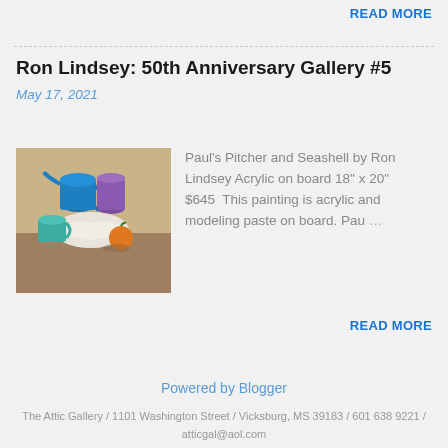READ MORE
Ron Lindsey: 50th Anniversary Gallery #5
May 17, 2021
[Figure (photo): Still life painting showing a blue pitcher, purple vase, white seashell, and orange on a table.]
Paul's Pitcher and Seashell by Ron Lindsey Acrylic on board 18" x 20" $645  This painting is acrylic and modeling paste on board. Pau...
READ MORE
Powered by Blogger
The Attic Gallery / 1101 Washington Street / Vicksburg, MS 39183 / 601 638 9221 / atticgal@aol.com